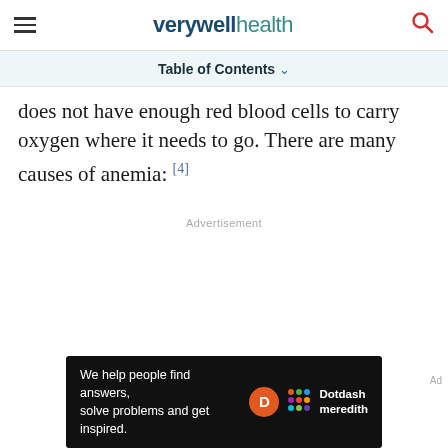verywell health
Table of Contents
does not have enough red blood cells to carry oxygen where it needs to go. There are many causes of anemia: [4]
Advertisement
[Figure (other): Dotdash Meredith advertisement banner: 'We help people find answers, solve problems and get inspired.']